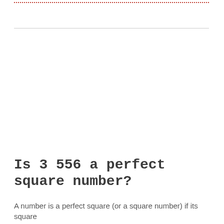Is 3 556 a perfect square number?
A number is a perfect square (or a square number) if its square